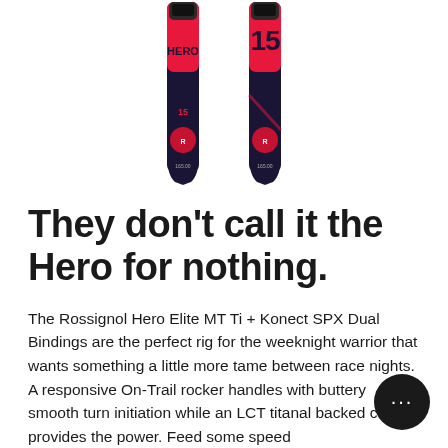[Figure (photo): Two Rossignol Hero Elite MT Ti skis standing upright side by side, with red and dark navy/black graphics. The left ski shows 'HERO' text in red on dark background, the right shows '15' in large characters. Both skis have Rossignol logo near the tips and bindings visible at the top.]
They don't call it the Hero for nothing.
The Rossignol Hero Elite MT Ti + Konect SPX Dual Bindings are the perfect rig for the weeknight warrior that wants something a little more tame between race nights. A responsive On-Trail rocker handles with buttery smooth turn initiation while an LCT titanal backed core provides the power. Feed some speed